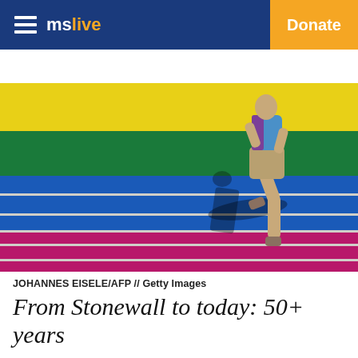mslive   Donate
[Figure (photo): Person running up colorful rainbow-striped stairs/steps with yellow, green, blue, and magenta/purple horizontal bands. Shadow visible on the steps. The person is seen from behind wearing khaki shorts and a colorful top.]
JOHANNES EISELE/AFP // Getty Images
From Stonewall to today: 50+ years